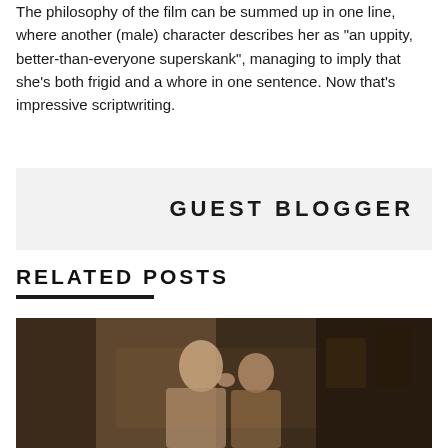The philosophy of the film can be summed up in one line, where another (male) character describes her as "an uppity, better-than-everyone superskank", managing to imply that she's both frigid and a whore in one sentence. Now that's impressive scriptwriting.
GUEST BLOGGER
RELATED POSTS
[Figure (photo): A dark-toned photograph showing two people in what appears to be an indoor setting, one person facing sideways and another with their hand near their neck.]